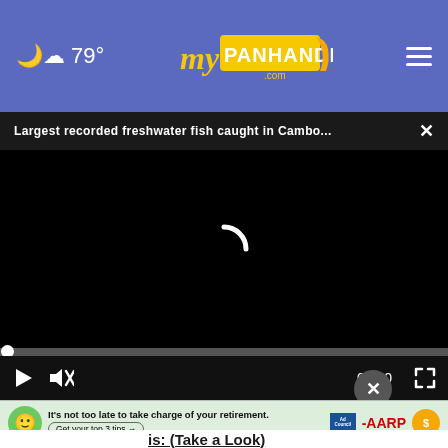79° myPanhandle.com
Largest recorded freshwater fish caught in Cambo... ×
[Figure (screenshot): Video player showing a black loading screen with a spinning/loading indicator in the center. Below the video area are playback controls: a play button, a mute button, a timestamp showing 00:00, and a fullscreen button. A progress bar is visible above the controls.]
[Figure (photo): Partial photo of a person's hand/fingers visible in the lower portion of the page.]
[Figure (other): Close button (X) in a dark circular button overlaid on the content.]
[Figure (infographic): Advertisement banner: green emoji face mascot, text reading 'It's not too late to take charge of your retirement. Get your top 3 tips →', Ad Council logo, AARP logo, sun icon with dollar sign.]
is: (Take a Look)